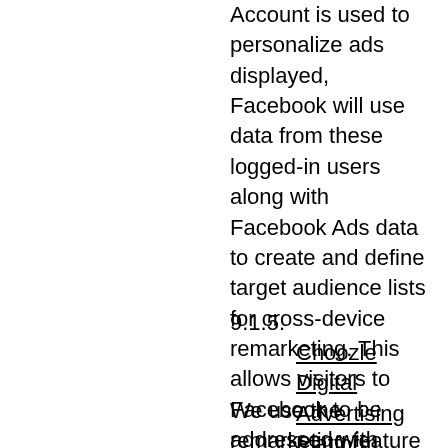Account is used to personalize ads displayed, Facebook will use data from these logged-in users along with Facebook Ads data to create and define target audience lists for cross-device remarketing. This allows visitors to Facebook to be addressed with personalized, interest-based advertising across devices. You can change your ad preferences in your Facebook account under “Facebook Settings & Privacy”.
9.1.5.
Choozle Digital Advertising Platform
We use the remarketing feature of Choozle, Inc., Denver, Colorado which allows us to target visitors to